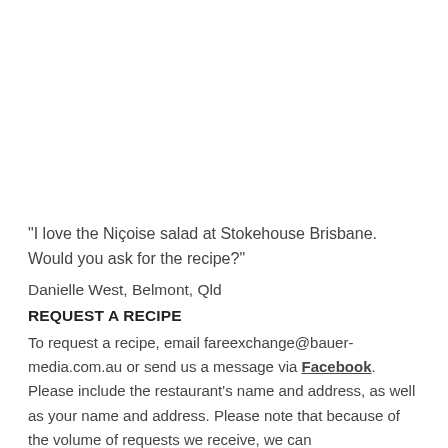"I love the Niçoise salad at Stokehouse Brisbane. Would you ask for the recipe?"
Danielle West, Belmont, Qld
REQUEST A RECIPE
To request a recipe, email fareexchange@bauer-media.com.au or send us a message via Facebook. Please include the restaurant's name and address, as well as your name and address. Please note that because of the volume of requests we receive, we can